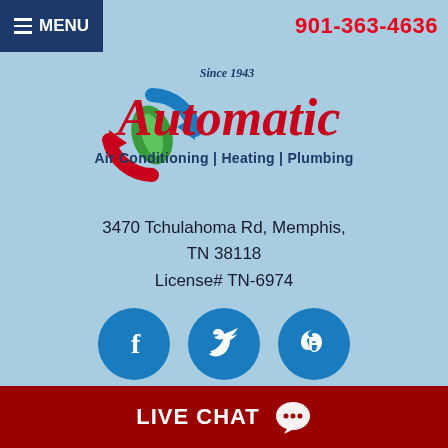MENU | 901-363-4636
[Figure (logo): Automatic Air Conditioning Heating Plumbing logo with circular arrow/leaf emblem, Since 1943 tagline]
3470 Tchulahoma Rd, Memphis, TN 38118
License# TN-6974
[Figure (infographic): Three blue circular social media icons: Facebook (f), Twitter (bird), Pinterest (P)]
[Figure (infographic): Payment method icons: Visa, Mastercard, American Express, Discover, Cash, Check]
FINANCING OPTIONS AVAILABLE
LIVE CHAT